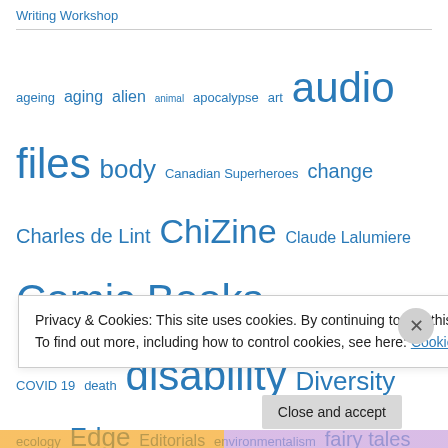Writing Workshop
[Figure (infographic): Tag cloud with various topics in blue text at different sizes: ageing, aging, alien, animal, apocalypse, art, audio files, body, Canadian Superheroes, change, Charles de Lint, ChiZine, Claude Lalumiere, Comic Books, comics, community, COVID 19, death, disability, Diversity, ecology, Edge, Editorials, environmentalism, fairy tales, family, fantasy, fear, feminism, gender, history, home, horror, Humour, Ian Rogers, identity, indigenous peoples, interviews, learning, LGBTQ2, literature for social change, Magic, memory, Monstrosity, myth]
Privacy & Cookies: This site uses cookies. By continuing to use this website, you agree to their use.
To find out more, including how to control cookies, see here: Cookie Policy
Close and accept